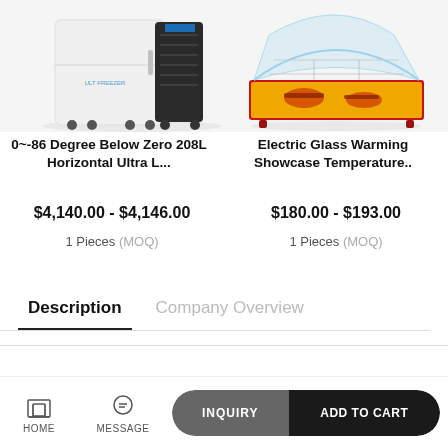[Figure (photo): White and black ultra-low temperature freezer on wheels]
0~-86 Degree Below Zero 208L Horizontal Ultra L...
$4,140.00 - $4,146.00
1 Pieces (MOQ)
[Figure (photo): Red electric glass warming showcase with food display]
Electric Glass Warming Showcase Temperature..
$180.00 - $193.00
1 Pieces (MOQ)
Description
Company Overview
HOME  MESSAGE  INQUIRY  ADD TO CART